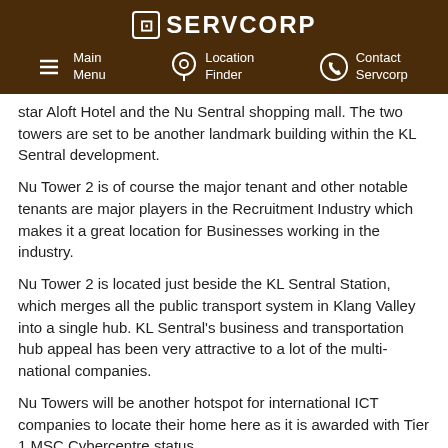SERVCORP | Main Menu | Location Finder | Contact Servcorp
star Aloft Hotel and the Nu Sentral shopping mall. The two towers are set to be another landmark building within the KL Sentral development.
Nu Tower 2 is of course the major tenant and other notable tenants are major players in the Recruitment Industry which makes it a great location for Businesses working in the industry.
Nu Tower 2 is located just beside the KL Sentral Station, which merges all the public transport system in Klang Valley into a single hub. KL Sentral's business and transportation hub appeal has been very attractive to a lot of the multi-national companies.
Nu Towers will be another hotspot for international ICT companies to locate their home here as it is awarded with Tier 1 MSC Cybercentre status.